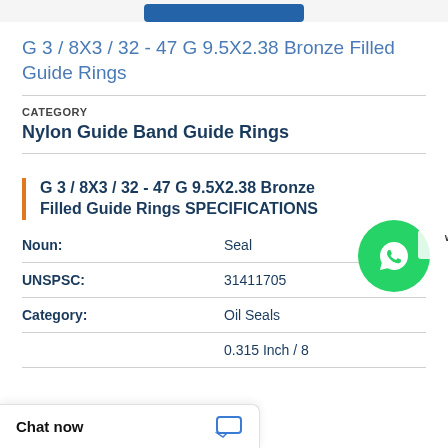G 3 / 8X3 / 32 - 47 G 9.5X2.38 Bronze Filled Guide Rings
CATEGORY
Nylon Guide Band Guide Rings
G 3 / 8X3 / 32 - 47 G 9.5X2.38 Bronze Filled Guide Rings SPECIFICATIONS
| Attribute | Value |
| --- | --- |
| Noun: | Seal |
| UNSPSC: | 31411705 |
| Category: | Oil Seals |
|  | 0.315 Inch / 8 |
[Figure (other): WhatsApp chat bubble icon with 'WhatsApp Online' label overlay]
Chat now